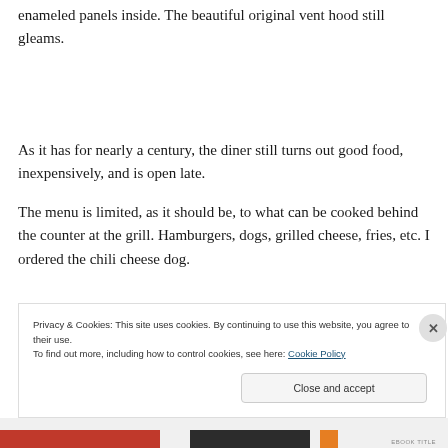enameled panels inside. The beautiful original vent hood still gleams.
As it has for nearly a century, the diner still turns out good food, inexpensively, and is open late.
The menu is limited, as it should be, to what can be cooked behind the counter at the grill. Hamburgers, dogs, grilled cheese, fries, etc. I ordered the chili cheese dog.
Privacy & Cookies: This site uses cookies. By continuing to use this website, you agree to their use.
To find out more, including how to control cookies, see here: Cookie Policy
Close and accept